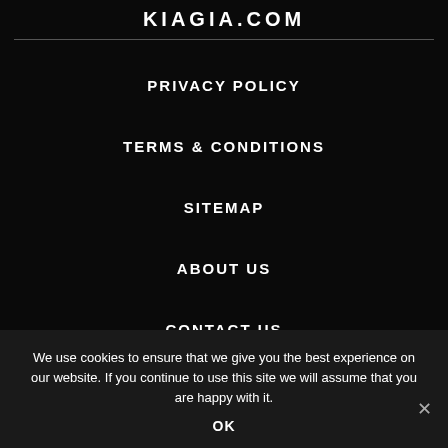KIAGIA.COM
PRIVACY POLICY
TERMS & CONDITIONS
SITEMAP
ABOUT US
CONTACT US
We use cookies to ensure that we give you the best experience on our website. If you continue to use this site we will assume that you are happy with it.
OK